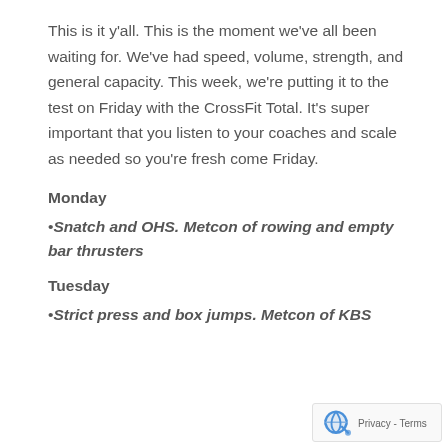This is it y'all. This is the moment we've all been waiting for. We've had speed, volume, strength, and general capacity. This week, we're putting it to the test on Friday with the CrossFit Total. It's super important that you listen to your coaches and scale as needed so you're fresh come Friday.
Monday
•Snatch and OHS. Metcon of rowing and empty bar thrusters
Tuesday
•Strict press and box jumps. Metcon of KBS...